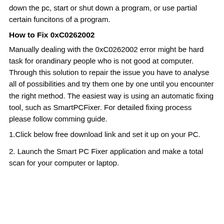down the pc, start or shut down a program, or use partial certain funcitons of a program.
How to Fix 0xC0262002
Manually dealing with the 0xC0262002 error might be hard task for orandinary people who is not good at computer. Through this solution to repair the issue you have to analyse all of possibilities and try them one by one until you encounter the right method. The easiest way is using an automatic fixing tool, such as SmartPCFixer. For detailed fixing process please follow comming guide.
1.Click below free download link and set it up on your PC.
2. Launch the Smart PC Fixer application and make a total scan for your computer or laptop.